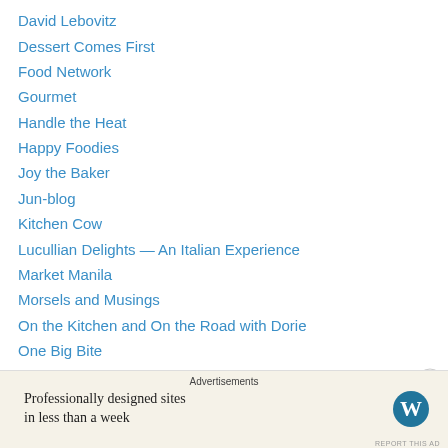David Lebovitz
Dessert Comes First
Food Network
Gourmet
Handle the Heat
Happy Foodies
Joy the Baker
Jun-blog
Kitchen Cow
Lucullian Delights — An Italian Experience
Market Manila
Morsels and Musings
On the Kitchen and On the Road with Dorie
One Big Bite
Orangette
Rasa Malaysia
Advertisements
Professionally designed sites in less than a week